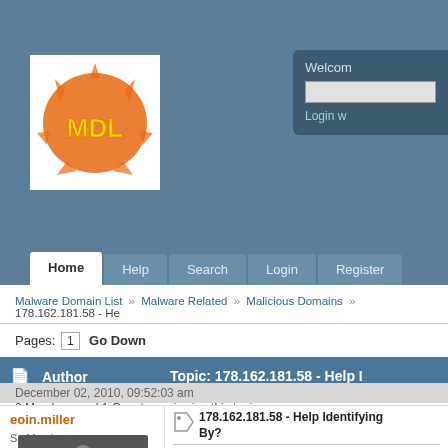[Figure (logo): MDL logo - orange starburst with yellow text MDL on white background]
Welcome
Login w
Home  Help  Search  Login  Register
Malware Domain List » Malware Related » Malicious Domains » 178.162.181.58 - He
Pages: [1]  Go Down
Author  Topic: 178.162.181.58 - Help I
0 Members and 1 Guest are viewing this topic.
December 02, 2010, 09:52:03 am
eoin.miller
Sr. Member
178.162.181.58 - Help Identifying By?
We are seeing lots of people get redirected based and they are being redirected to